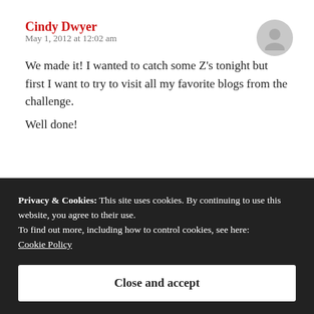Cindy Dwyer
May 1, 2012 at 12:02 am
We made it! I wanted to catch some Z's tonight but first I want to try to visit all my favorite blogs from the challenge.

Well done!
Privacy & Cookies: This site uses cookies. By continuing to use this website, you agree to their use. To find out more, including how to control cookies, see here: Cookie Policy
Close and accept
Vero